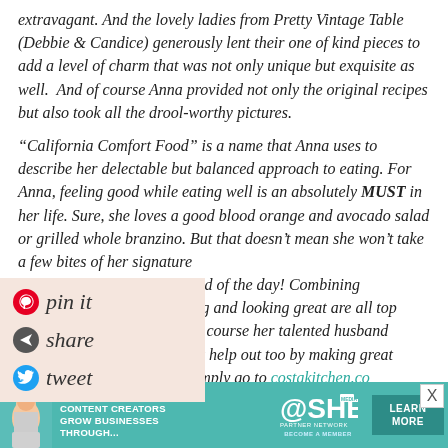extravagant. And the lovely ladies from Pretty Vintage Table (Debbie & Candice) generously lent their one of kind pieces to add a level of charm that was not only unique but exquisite as well.  And of course Anna provided not only the original recipes but also took all the drool-worthy pictures.
“California Comfort Food” is a name that Anna uses to describe her delectable but balanced approach to eating. For Anna, feeling good while eating well is an absolutely MUST in her life. Sure, she loves a good blood orange and avocado salad or grilled whole branzino. But that doesn’t mean she won’t take a few bites of her signature cream at the end of the day! Combining hile still feeling and looking great are all top st. That and of course her talented husband aughter....They help out too by making great find recipes simply go to costakitchen.co
[Figure (screenshot): Social share overlay panel with salmon/peach background showing Pinterest (pin it), Telegram (share), and Twitter (tweet) icons with handwritten-style labels]
[Figure (screenshot): Advertisement banner for SHE Media Partner Network in teal color, with photo of woman, text 'We help content creators grow businesses through...', SHE Media logo, and Learn More button]
X close button